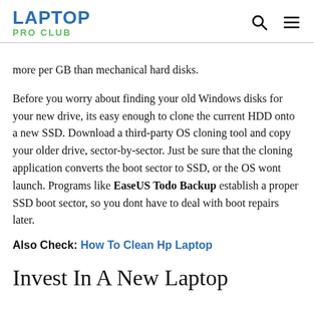LAPTOP PRO CLUB
more per GB than mechanical hard disks.
Before you worry about finding your old Windows disks for your new drive, its easy enough to clone the current HDD onto a new SSD. Download a third-party OS cloning tool and copy your older drive, sector-by-sector. Just be sure that the cloning application converts the boot sector to SSD, or the OS wont launch. Programs like EaseUS Todo Backup establish a proper SSD boot sector, so you dont have to deal with boot repairs later.
Also Check: How To Clean Hp Laptop
Invest In A New Laptop